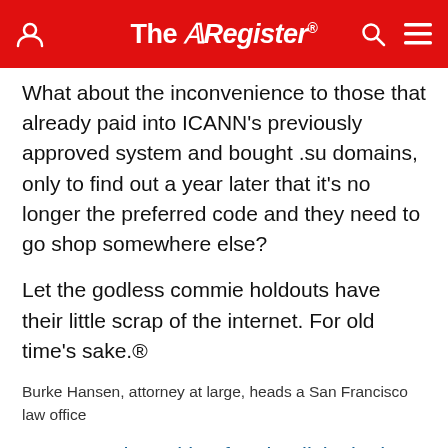The Register®
What about the inconvenience to those that already paid into ICANN's previously approved system and bought .su domains, only to find out a year later that it's no longer the preferred code and they need to go shop somewhere else?
Let the godless commie holdouts have their little scrap of the internet. For old time's sake.®
Burke Hansen, attorney at large, heads a San Francisco law office
Sponsored: Looking for simplicity in the cloud? The future is going to be open and hybrid
SHARE   30 Comments